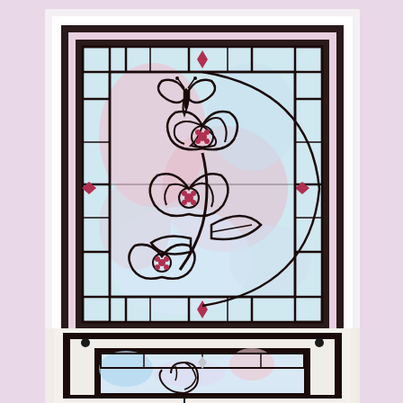[Figure (illustration): Handmade greeting card featuring a stained glass style design with flowers and a butterfly. The card has a light pink/lavender background with a dark brown/black mat border and a white outer border. The stained glass panel shows two large flowers and a butterfly in the center, with geometric border panels containing red diamond accent pieces. The background of the stained glass is a soft watercolor wash of light blue, pink, and lavender.]
[Figure (illustration): Partial view of a second handmade card at the bottom of the page, showing a similar stained glass style design with a rose motif. The card has a cream/white background with a dark border. Small black brad/button embellishments are visible in the corners. The stained glass panel shows a rose design with blue and pink watercolor background.]